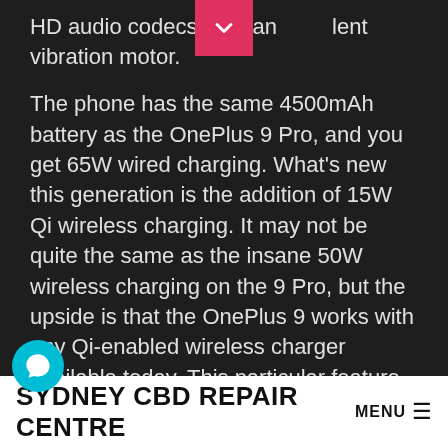HD audio codecs, and an excellent vibration motor.
The phone has the same 4500mAh battery as the OnePlus 9 Pro, and you get 65W wired charging. What's new this generation is the addition of 15W Qi wireless charging. It may not be quite the same as the insane 50W wireless charging on the 9 Pro, but the upside is that the OnePlus 9 works with any Qi-enabled wireless charger available today. This particular feature is missing on the Indian and Chinese models, but you'll find it on the OnePlus 9 variants sold in North America and Europe.
Coming to the software, OxygenOS 11 continues to set the standard in terms of customizability. The bloatware
SYDNEY CBD REPAIR CENTRE MENU ≡